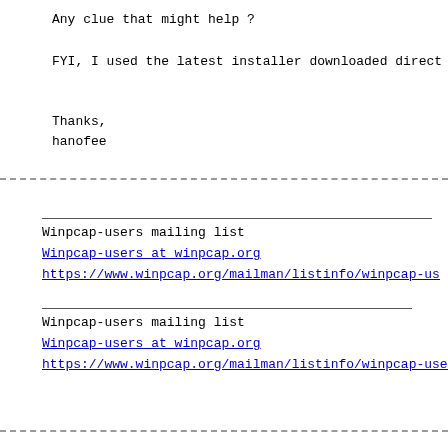Any clue that might help ?
FYI, I used the latest installer downloaded direct
Thanks,
hanofee
Winpcap-users mailing list
Winpcap-users at winpcap.org
https://www.winpcap.org/mailman/listinfo/winpcap-us
Winpcap-users mailing list
Winpcap-users at winpcap.org
https://www.winpcap.org/mailman/listinfo/winpcap-user